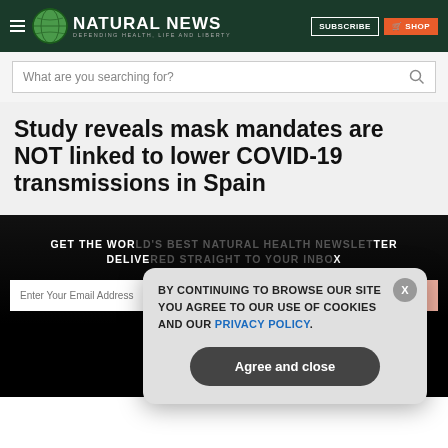NATURAL NEWS — DEFENDING HEALTH, LIFE AND LIBERTY
What are you searching for?
Study reveals mask mandates are NOT linked to lower COVID-19 transmissions in Spain
GET THE WORLD'S BEST NATURAL HEALTH NEWSLETTER DELIVERED STRAIGHT TO YOUR INBOX
BY CONTINUING TO BROWSE OUR SITE YOU AGREE TO OUR USE OF COOKIES AND OUR PRIVACY POLICY.
Agree and close